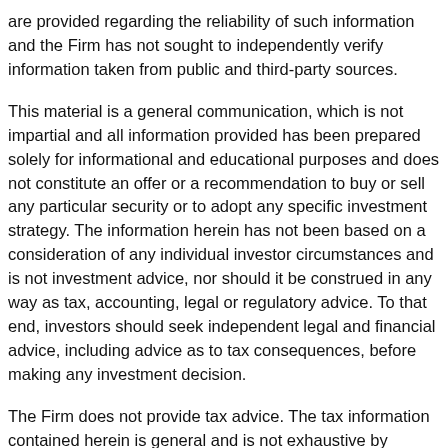are provided regarding the reliability of such information and the Firm has not sought to independently verify information taken from public and third-party sources.
This material is a general communication, which is not impartial and all information provided has been prepared solely for informational and educational purposes and does not constitute an offer or a recommendation to buy or sell any particular security or to adopt any specific investment strategy. The information herein has not been based on a consideration of any individual investor circumstances and is not investment advice, nor should it be construed in any way as tax, accounting, legal or regulatory advice. To that end, investors should seek independent legal and financial advice, including advice as to tax consequences, before making any investment decision.
The Firm does not provide tax advice. The tax information contained herein is general and is not exhaustive by nature. It was not intended or written to be used, and it cannot be used by any taxpayer, for the purpose of avoiding penalties that may be